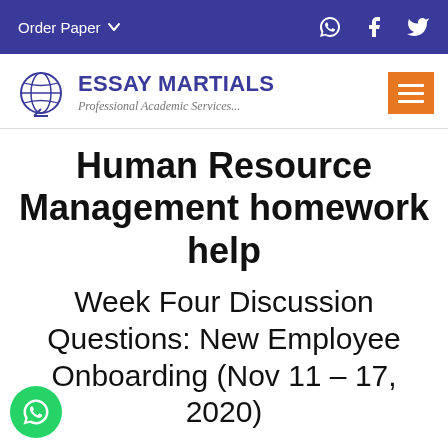Order Paper ▾
[Figure (logo): Essay Martials globe logo with text ESSAY MARTIALS and tagline Professional Academic Services...]
Human Resource Management homework help
Week Four Discussion Questions: New Employee Onboarding (Nov 11 – 17, 2020)